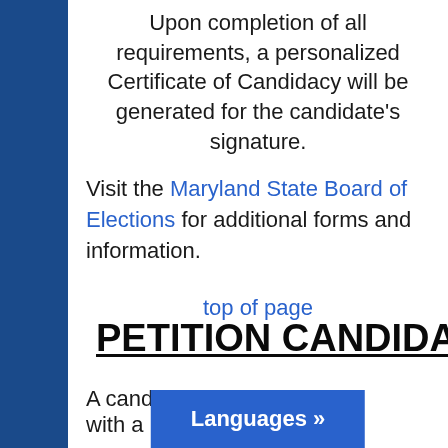Upon completion of all requirements, a personalized Certificate of Candidacy will be generated for the candidate's signature.
Visit the Maryland State Board of Elections for additional forms and information.
top of page
PETITION CANDIDATES
A candidate w with a
Languages »